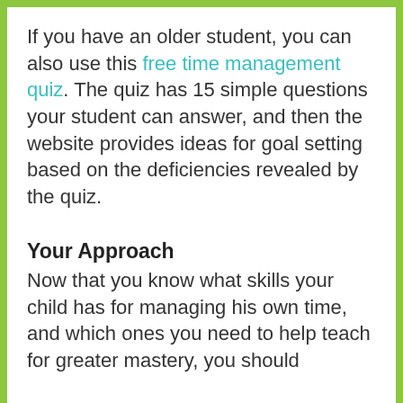If you have an older student, you can also use this free time management quiz. The quiz has 15 simple questions your student can answer, and then the website provides ideas for goal setting based on the deficiencies revealed by the quiz.
Your Approach
Now that you know what skills your child has for managing his own time, and which ones you need to help teach for greater mastery, you should